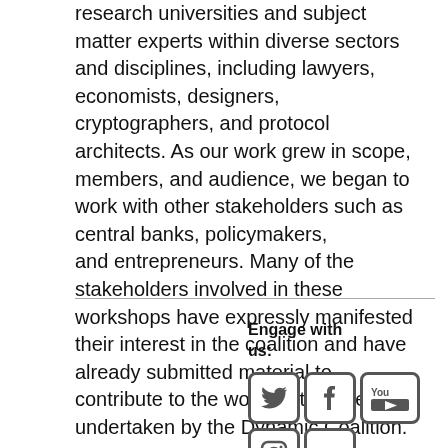research universities and subject matter experts within diverse sectors and disciplines, including lawyers, economists, designers, cryptographers, and protocol architects. As our work grew in scope, members, and audience, we began to work with other stakeholders such as central banks, policymakers, and entrepreneurs. Many of the stakeholders involved in these workshops have expressly manifested their interest in the coalition and have already submitted material to contribute to the work that will be undertaken by the Dynamic Coalition.
[Figure (infographic): Social media icons: Twitter, Facebook, YouTube, Instagram, Flickr with 'Engage with us:' label]